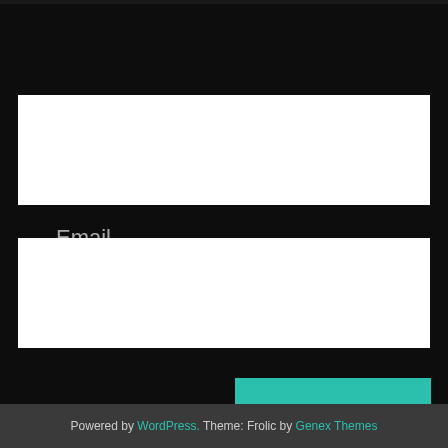Email
Website
POST COMMENTS
Powered by WordPress. Theme: Frolic by Genex Themes